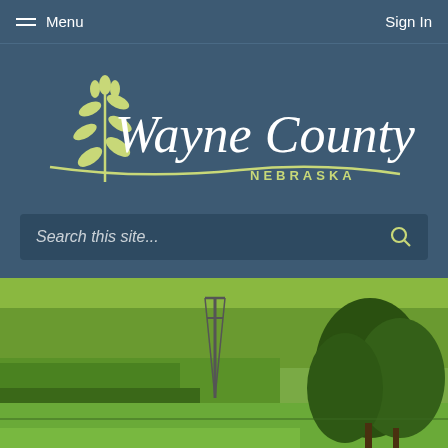Menu   Sign In
[Figure (logo): Wayne County Nebraska logo with wheat/leaf graphic and stylized script text]
Search this site...
[Figure (photo): Aerial view of green agricultural fields in Nebraska with trees and a utility tower]